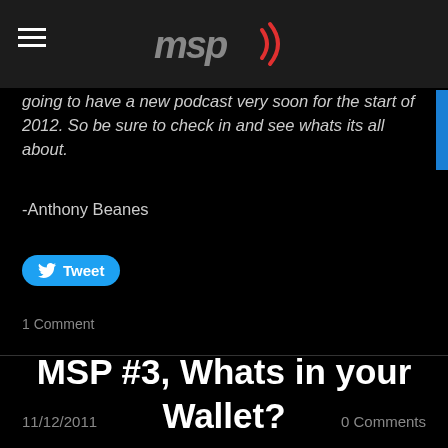MSP logo header
going to have a new podcast very soon for the start of 2012. So be sure to check in and see whats its all about.
-Anthony Beanes
[Figure (other): Tweet button]
1 Comment
MSP #3, Whats in your Wallet?
11/12/2011
0 Comments